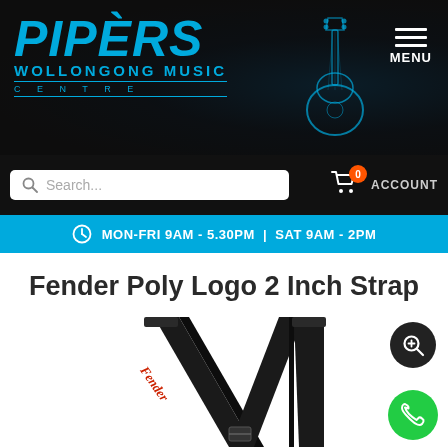[Figure (screenshot): Pipers Wollongong Music Centre website header with logo, menu button, search bar, cart icon, account link, business hours bar, product title and product image of a Fender guitar strap]
PIPERS WOLLONGONG MUSIC CENTRE
MON-FRI 9AM - 5.30PM | SAT 9AM - 2PM
Fender Poly Logo 2 Inch Strap
[Figure (photo): Black Fender Poly Logo 2 Inch guitar strap with red Fender script logo, shown folded in an M shape against a white background]